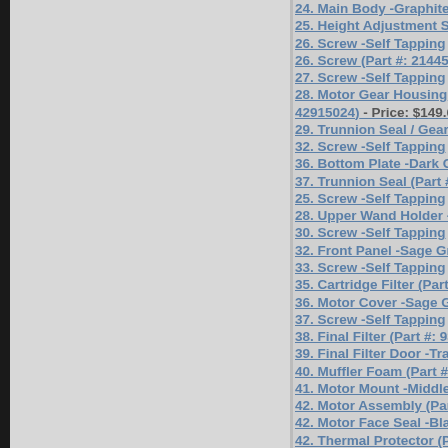24. Main Body -Graphite
25. Height Adjustment S
26. Screw -Self Tapping
26. Screw (Part #: 21445
27. Screw -Self Tapping
28. Motor Gear Housing 42915024) - Price: $149.6
29. Trunnion Seal / Gear
32. Screw -Self Tapping
36. Bottom Plate -Dark C
37. Trunnion Seal (Part #
25. Screw -Self Tapping
28. Upper Wand Holder -
30. Screw -Self Tapping
32. Front Panel -Sage Gr
33. Screw -Self Tapping
35. Cartridge Filter (Part
36. Motor Cover -Sage G
37. Screw -Self Tapping
38. Final Filter (Part #: 93
39. Final Filter Door -Tra
40. Muffler Foam (Part #
41. Motor Mount -Middle
42. Motor Assembly (Par
42. Motor Face Seal -Bla
42. Thermal Protector (P
43. Extension Tube -Blac
45. Inlet Seal -Bag Conta
46. Bag Adapter -Black (
47. Bag Container -Trans
$64.83
49. Upper Hose Holder -
50. Upper Wire Harness